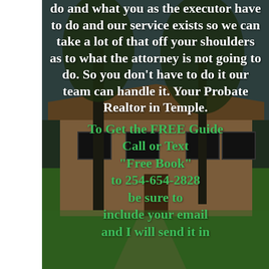[Figure (photo): Background photo of a suburban house with trees and a green lawn, partially darkened overlay. A white vertical bar covers the left side of the image.]
do and what you as the executor have to do and our service exists so we can take a lot of that off your shoulders as to what the attorney is not going to do. So you don't have to do it our team can handle it. Your Probate Realtor in Temple.
To Get the FREE Guide Call or Text "Free Book" to 254-654-2828 be sure to include your email and I will send it in